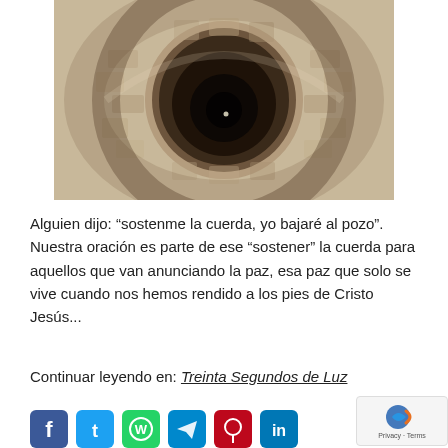[Figure (photo): Looking down into a deep stone well. The circular walls are made of rough stone and the tunnel narrows to a dark center with a small point of light at the bottom.]
Alguien dijo: “sosten­me la cuerda, yo bajaré al pozo”. Nuestra oración es parte de ese “sostener” la cuerda para aquellos que van anunciando la paz, esa paz que solo se vive cuando nos hemos rendido a los pies de Cristo Jesús...
Continuar leyendo en: Treinta Segundos de Luz